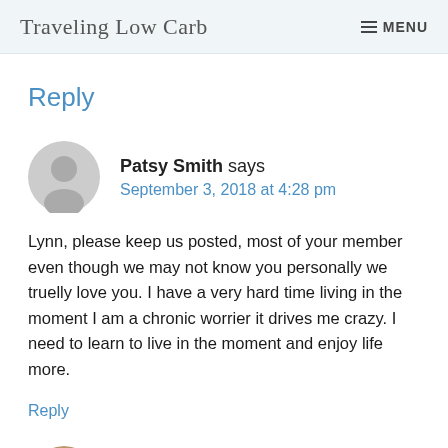Traveling Low Carb  MENU
Reply
Patsy Smith says
September 3, 2018 at 4:28 pm
Lynn, please keep us posted, most of your member even though we may not know you personally we truelly love you. I have a very hard time living in the moment I am a chronic worrier it drives me crazy. I need to learn to live in the moment and enjoy life more.
Reply